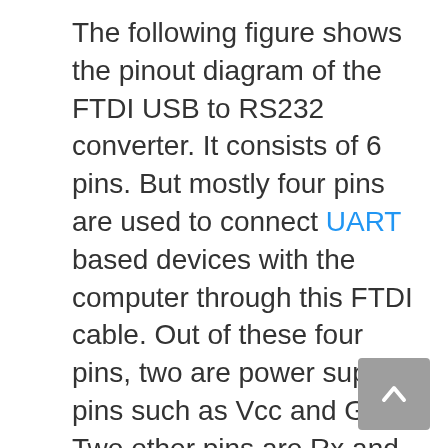The following figure shows the pinout diagram of the FTDI USB to RS232 converter. It consists of 6 pins. But mostly four pins are used to connect UART based devices with the computer through this FTDI cable. Out of these four pins, two are power supply pins such as Vcc and GND. Two other pins are Rx and Tx Pins.